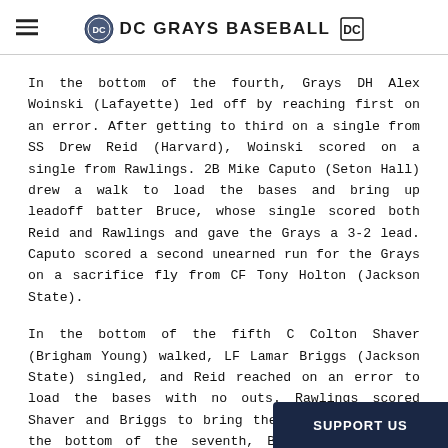DC GRAYS BASEBALL
In the bottom of the fourth, Grays DH Alex Woinski (Lafayette) led off by reaching first on an error. After getting to third on a single from SS Drew Reid (Harvard), Woinski scored on a single from Rawlings. 2B Mike Caputo (Seton Hall) drew a walk to load the bases and bring up leadoff batter Bruce, whose single scored both Reid and Rawlings and gave the Grays a 3-2 lead. Caputo scored a second unearned run for the Grays on a sacrifice fly from CF Tony Holton (Jackson State).
In the bottom of the fifth C Colton Shaver (Brigham Young) walked, LF Lamar Briggs (Jackson State) singled, and Reid reached on an error to load the bases with no outs. Rawlings scored Shaver and Briggs to bring the score to 6-2. In the bottom of the seventh, Briggs walked, and Reid once again reached on an error. Rawlings singled, scoring Briggs and getting his season-high third hit of the g... Rawlings on base, Bruce came up and fire...